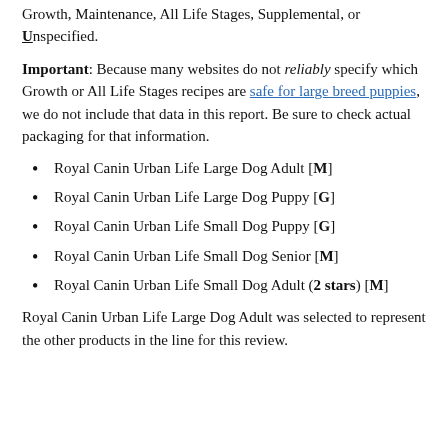Growth, Maintenance, All Life Stages, Supplemental, or Unspecified.
Important: Because many websites do not reliably specify which Growth or All Life Stages recipes are safe for large breed puppies, we do not include that data in this report. Be sure to check actual packaging for that information.
Royal Canin Urban Life Large Dog Adult [M]
Royal Canin Urban Life Large Dog Puppy [G]
Royal Canin Urban Life Small Dog Puppy [G]
Royal Canin Urban Life Small Dog Senior [M]
Royal Canin Urban Life Small Dog Adult (2 stars) [M]
Royal Canin Urban Life Large Dog Adult was selected to represent the other products in the line for this review.